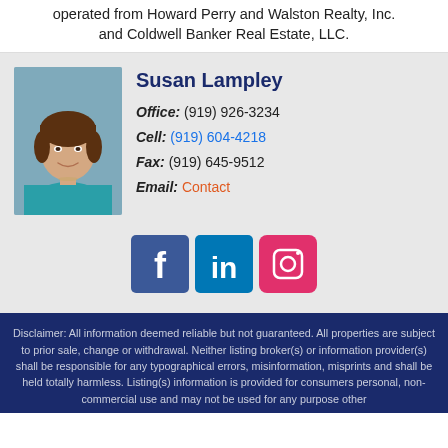operated from Howard Perry and Walston Realty, Inc. and Coldwell Banker Real Estate, LLC.
[Figure (photo): Headshot of Susan Lampley, a woman with short brown hair wearing a teal/turquoise top]
Susan Lampley
Office: (919) 926-3234
Cell: (919) 604-4218
Fax: (919) 645-9512
Email: Contact
[Figure (logo): Social media icons: Facebook (blue square with f), LinkedIn (blue square with in), Instagram (pink/orange square with camera icon)]
Disclaimer: All information deemed reliable but not guaranteed. All properties are subject to prior sale, change or withdrawal. Neither listing broker(s) or information provider(s) shall be responsible for any typographical errors, misinformation, misprints and shall be held totally harmless. Listing(s) information is provided for consumers personal, non-commercial use and may not be used for any purpose other